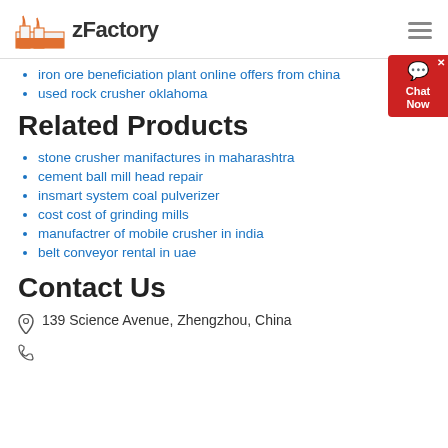zFactory
iron ore beneficiation plant online offers from china
used rock crusher oklahoma
Related Products
stone crusher manifactures in maharashtra
cement ball mill head repair
insmart system coal pulverizer
cost cost of grinding mills
manufactrer of mobile crusher in india
belt conveyor rental in uae
Contact Us
139 Science Avenue, Zhengzhou, China